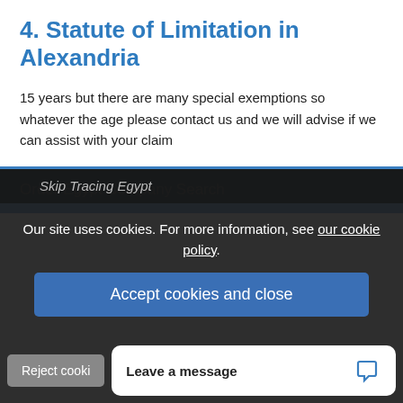4. Statute of Limitation in Alexandria
15 years but there are many special exemptions so whatever the age please contact us and we will advise if we can assist with your claim
Order Egypt Company Search
Skip Tracing Egypt
Our site uses cookies. For more information, see our cookie policy.
Accept cookies and close
Reject cooki
Leave a message